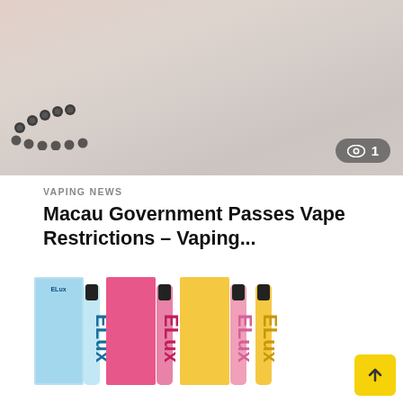[Figure (photo): Top portion of an image showing a beaded bracelet pattern on a light beige/pink surface with a view count badge showing 1]
VAPING NEWS
Macau Government Passes Vape Restrictions – Vaping...
[Figure (photo): Grid of Elux vape pen products in multiple colors (blue, pink/red, yellow/orange, lime green, red) with product boxes, arranged in two rows of four items each]